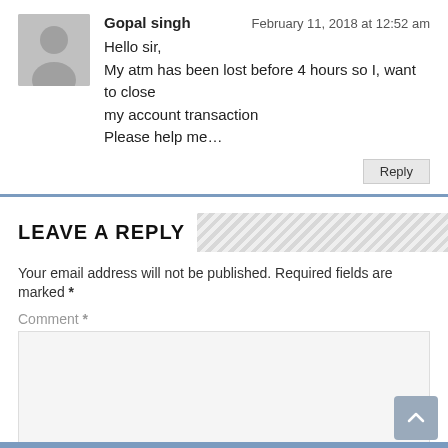Gopal singh
February 11, 2018 at 12:52 am
Hello sir,
My atm has been lost before 4 hours so I, want to close my account transaction
Please help me…
LEAVE A REPLY
Your email address will not be published. Required fields are marked *
Comment *